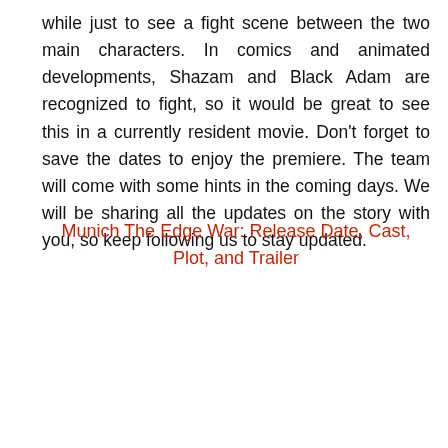while just to see a fight scene between the two main characters. In comics and animated developments, Shazam and Black Adam are recognized to fight, so it would be great to see this in a currently resident movie. Don't forget to save the dates to enjoy the premiere. The team will come with some hints in the coming days. We will be sharing all the updates on the story with you, so keep following us to stay updated.
Munich The Edge War: Release Date, Cast, Plot, and Trailer